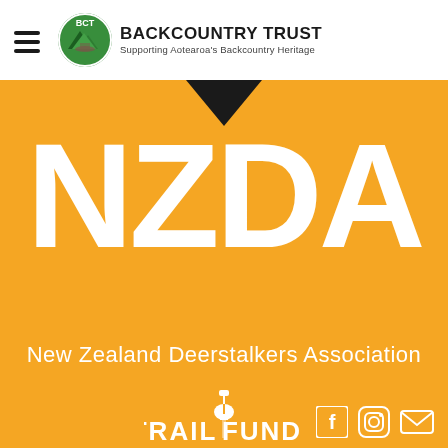[Figure (logo): Backcountry Trust logo with BCT circular badge and text 'BACKCOUNTRY TRUST Supporting Aotearoa's Backcountry Heritage']
[Figure (logo): NZDA New Zealand Deerstalkers Association logo on orange background with large white NZDA letters and downward triangle]
[Figure (logo): Trail Fund logo with shovel icon, text 'TRAIL FUND SUPPORTING NZ BIKE TRAILS']
[Figure (logo): Social media icons: Facebook, Instagram, Email in bottom right corner]